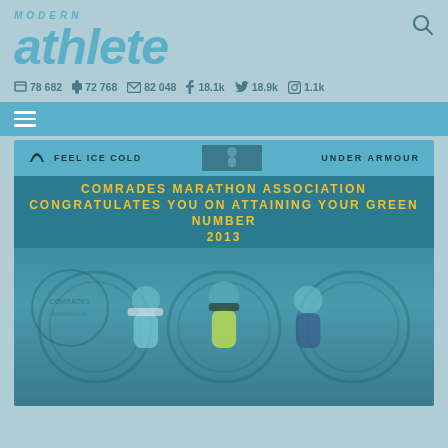[Figure (logo): Modern Athlete magazine logo in teal/cyan italic bold text]
78 682  72 768  82 048  18.1k  18.9k  1.1k
[Figure (screenshot): Under Armour Feel Ice Cold advertisement banner with runner image]
COMRADES MARATHON ASSOCIATION CONGRATULATES YOU ON ATTAINING YOUR GREEN NUMBER 2013
[Figure (photo): Three runners wearing green singlets posing together at Comrades Marathon event]